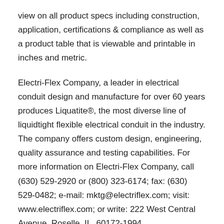view on all product specs including construction, application, certifications & compliance as well as a product table that is viewable and printable in inches and metric.
Electri-Flex Company, a leader in electrical conduit design and manufacture for over 60 years produces Liquatite®, the most diverse line of liquidtight flexible electrical conduit in the industry. The company offers custom design, engineering, quality assurance and testing capabilities. For more information on Electri-Flex Company, call (630) 529-2920 or (800) 323-6174; fax: (630) 529-0482; e-mail: mktg@electriflex.com; visit: www.electriflex.com; or write: 222 West Central Avenue, Roselle, IL, 60172-1994.